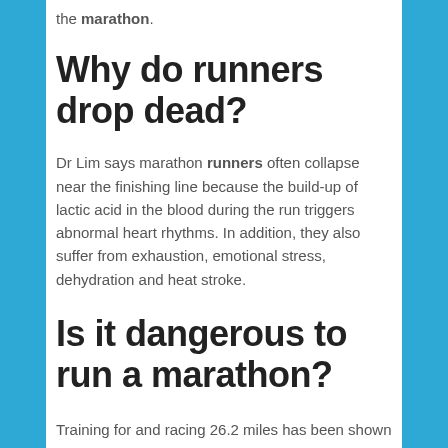the marathon.
Why do runners drop dead?
Dr Lim says marathon runners often collapse near the finishing line because the build-up of lactic acid in the blood during the run triggers abnormal heart rhythms. In addition, they also suffer from exhaustion, emotional stress, dehydration and heat stroke.
Is it dangerous to run a marathon?
Training for and racing 26.2 miles has been shown to